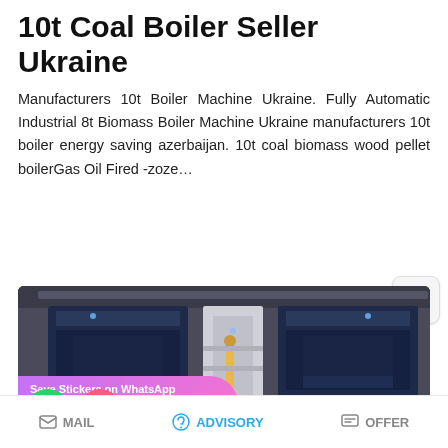10t Coal Boiler Seller Ukraine
Manufacturers 10t Boiler Machine Ukraine. Fully Automatic Industrial 8t Biomass Boiler Machine Ukraine manufacturers 10t boiler energy saving azerbaijan. 10t coal biomass wood pellet boilerGas Oil Fired -zoze…
READ MORE
[Figure (photo): Industrial coal boilers in a factory setting, two tall dark blue boiler units side by side, with a WhatsApp sticker-saving overlay and icons at the bottom]
MAIL   ADVISORY   OFFER